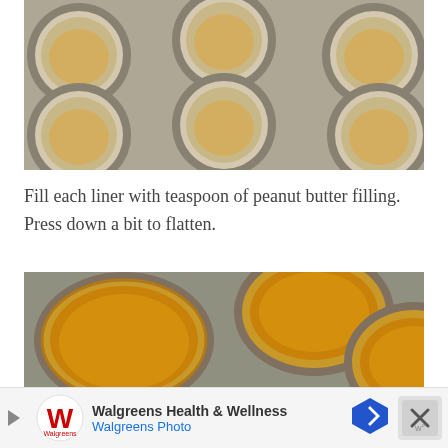[Figure (photo): Muffin tin with mini paper liners filled with peanut butter filling, viewed from above at an angle. The filling is golden/tan colored and slightly flattened in each cup.]
Fill each liner with teaspoon of peanut butter filling. Press down a bit to flatten.
[Figure (photo): Close-up of muffin tin with mini paper liners filled with a rich golden-brown peanut butter filling. The cups are more filled and filling is smoother.]
[Figure (other): Walgreens Health & Wellness advertisement banner with Walgreens logo, text 'Walgreens Health & Wellness' and 'Walgreens Photo', a blue navigation arrow icon, and a close button with X.]